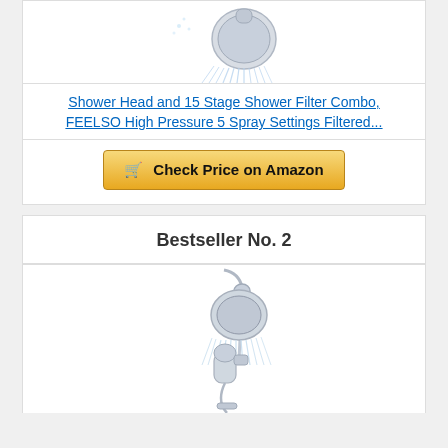[Figure (photo): Shower head spraying water, cropped top portion visible]
Shower Head and 15 Stage Shower Filter Combo, FEELSO High Pressure 5 Spray Settings Filtered...
Check Price on Amazon
Bestseller No. 2
[Figure (photo): Shower head combo product with handheld and fixed heads on rail]